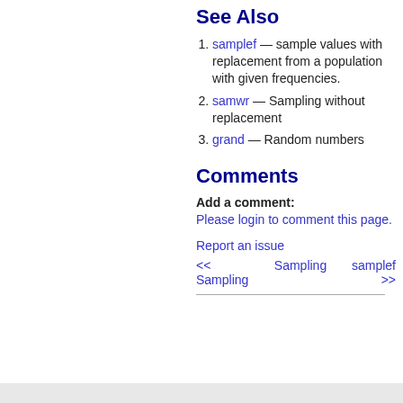See Also
samplef — sample values with replacement from a population with given frequencies.
samwr — Sampling without replacement
grand — Random numbers
Comments
Add a comment:
Please login to comment this page.
Report an issue
<< Sampling   Sampling   samplef >>